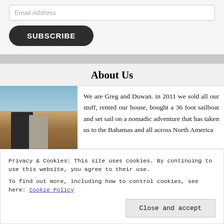Email Address
SUBSCRIBE
About Us
[Figure (photo): Two people (Greg and Duwan) standing outdoors in a desert/rocky landscape with blue sky behind them.]
We are Greg and Duwan. in 2011 we sold all our stuff, rented our house, bought a 36 foot sailboat and set sail on a nomadic adventure that has taken us to the Bahamas and all across North America
Privacy & Cookies: This site uses cookies. By continuing to use this website, you agree to their use.
To find out more, including how to control cookies, see here: Cookie Policy
Close and accept